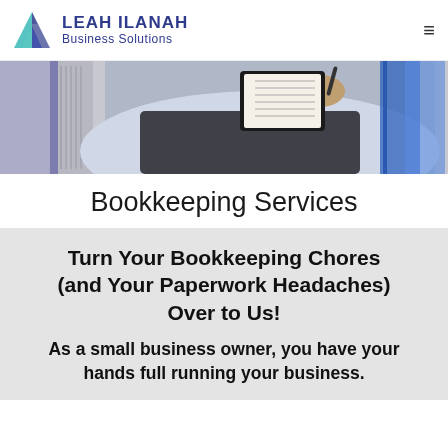Leah Ilanah Business Solutions
[Figure (photo): Person in business attire writing in a notebook, with blue binders in the background]
Bookkeeping Services
Turn Your Bookkeeping Chores (and Your Paperwork Headaches) Over to Us!
As a small business owner, you have your hands full running your business.